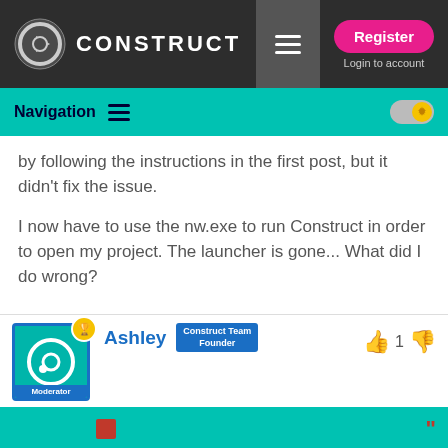CONSTRUCT — Register | Login to account
Navigation
by following the instructions in the first post, but it didn't fix the issue.

I now have to use the nw.exe to run Construct in order to open my project. The launcher is gone... What did I do wrong?
Ashley  Construct Team Founder  | 👍 1 👎
Moderator
Local file/folder saves are now supported in Chrome, so you don't need to use the desktop app just for that. If you do want to keep using the